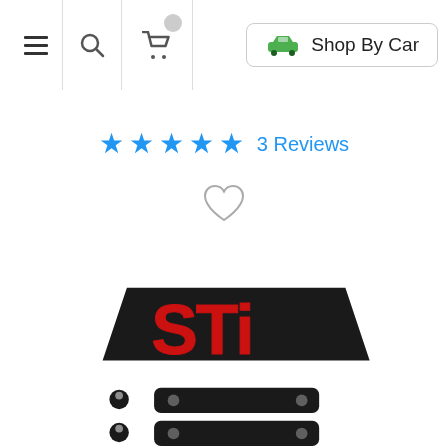[Figure (screenshot): Navigation bar with hamburger menu, search icon, shopping cart icon with badge, and 'Shop By Car' button with green car icon]
[Figure (other): 5 blue star rating icons followed by '3 Reviews' text in blue, with a heart/wishlist icon below]
[Figure (photo): STI logo badge (red letters with dark outline on black background) above two mounting bracket hardware pieces (two small rubber grommets and two black metal brackets)]